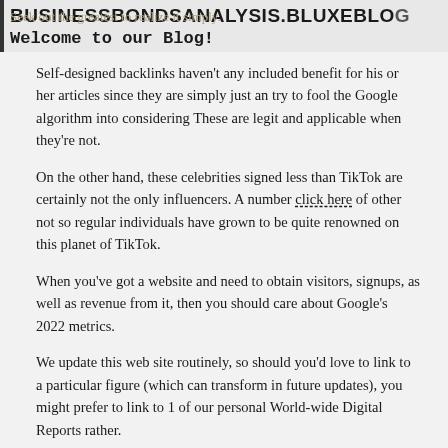BUSINESSBONDSANALYSIS.BLUXEBLOG
Welcome to our Blog!
Self-designed backlinks haven't any included benefit for his or her articles since they are simply just an try to fool the Google algorithm into considering These are legit and applicable when they're not.
On the other hand, these celebrities signed less than TikTok are certainly not the only influencers. A number click here of other not so regular individuals have grown to be quite renowned on this planet of TikTok.
When you've got a website and need to obtain visitors, signups, as well as revenue from it, then you should care about Google's 2022 metrics.
We update this web site routinely, so should you'd love to link to a particular figure (which can transform in future updates), you might prefer to link to 1 of our personal World-wide Digital Reports rather.